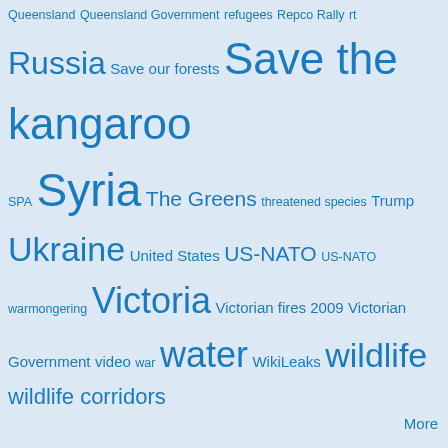[Figure (infographic): Tag cloud with various topics in blue, different font sizes indicating frequency: Queensland, Queensland Government, refugees, Repco Rally, rt, Russia, Save our forests, Save the kangaroo, SPA, Syria, The Greens, threatened species, Trump, Ukraine, United States, US-NATO, US-NATO warmongering, Victoria, Victorian fires 2009, Victorian Government, video, war, water, WikiLeaks, wildlife, wildlife corridors]
More
Help save injured wildlife
How to contact wildlife rescuers
Recent comments
Julian Assange: Great RadioTNT interview with Tony Wakeham
3 days 4 hours ago
Thursdays: Assange-gathering at Albanese's office Marrickville
3 days 14 hours ago